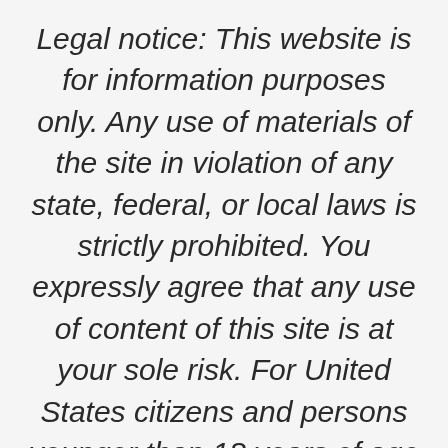Legal notice: This website is for information purposes only. Any use of materials of the site in violation of any state, federal, or local laws is strictly prohibited. You expressly agree that any use of content of this site is at your sole risk. For United States citizens and persons younger than 18 years of age (persons younger than 21 years in Estonia and other countries), it is unlawful to link to